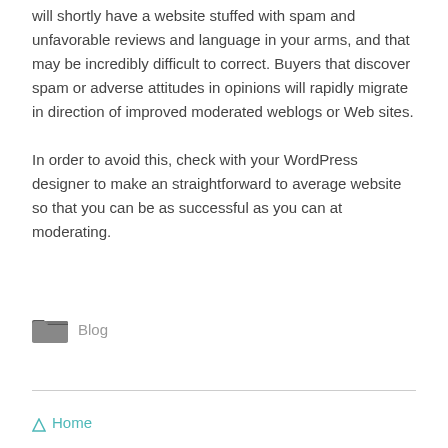will shortly have a website stuffed with spam and unfavorable reviews and language in your arms, and that may be incredibly difficult to correct. Buyers that discover spam or adverse attitudes in opinions will rapidly migrate in direction of improved moderated weblogs or Web sites.
In order to avoid this, check with your WordPress designer to make an straightforward to average website so that you can be as successful as you can at moderating.
Blog
Home